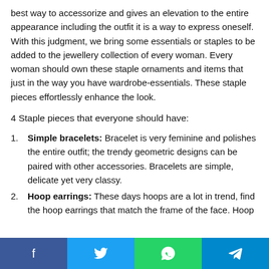best way to accessorize and gives an elevation to the entire appearance including the outfit it is a way to express oneself. With this judgment, we bring some essentials or staples to be added to the jewellery collection of every woman. Every woman should own these staple ornaments and items that just in the way you have wardrobe-essentials. These staple pieces effortlessly enhance the look.
4 Staple pieces that everyone should have:
Simple bracelets: Bracelet is very feminine and polishes the entire outfit; the trendy geometric designs can be paired with other accessories. Bracelets are simple, delicate yet very classy.
Hoop earrings: These days hoops are a lot in trend, find the hoop earrings that match the frame of the face. Hoop